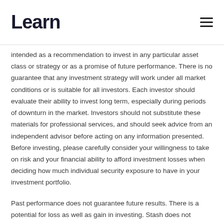Learn
intended as a recommendation to invest in any particular asset class or strategy or as a promise of future performance. There is no guarantee that any investment strategy will work under all market conditions or is suitable for all investors. Each investor should evaluate their ability to invest long term, especially during periods of downturn in the market. Investors should not substitute these materials for professional services, and should seek advice from an independent advisor before acting on any information presented. Before investing, please carefully consider your willingness to take on risk and your financial ability to afford investment losses when deciding how much individual security exposure to have in your investment portfolio.
Past performance does not guarantee future results. There is a potential for loss as well as gain in investing. Stash does not represent in any manner that the circumstances described herein will result in any particular outcome. While the data and analysis Stash uses from third party sources is believed to be reliable, Stash does not guarantee the accuracy of such information. Nothing in this article should be considered as a solicitation or offer, or